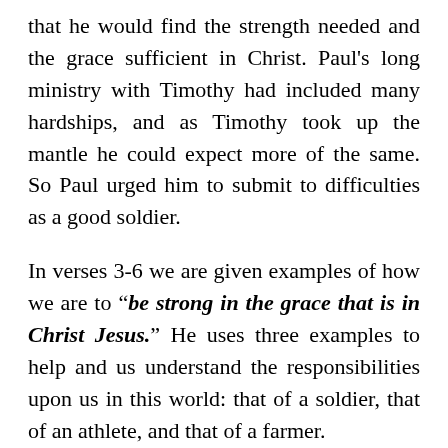that he would find the strength needed and the grace sufficient in Christ. Paul's long ministry with Timothy had included many hardships, and as Timothy took up the mantle he could expect more of the same. So Paul urged him to submit to difficulties as a good soldier.
In verses 3-6 we are given examples of how we are to "be strong in the grace that is in Christ Jesus." He uses three examples to help and us understand the responsibilities upon us in this world: that of a soldier, that of an athlete, and that of a farmer.
First he tells us that, like good soldiers, we must remain free from entanglement with other lesser goals and activities while serving the cause of Christ in this world (vv. 3-4).